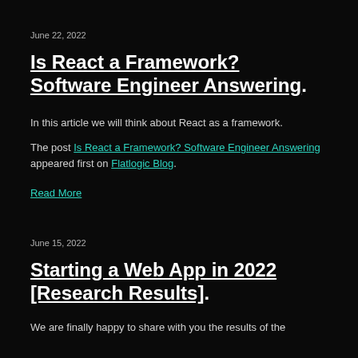June 22, 2022
Is React a Framework? Software Engineer Answering.
In this article we will think about React as a framework.
The post Is React a Framework? Software Engineer Answering appeared first on Flatlogic Blog.
Read More
June 15, 2022
Starting a Web App in 2022 [Research Results].
We are finally happy to share with you the results of the